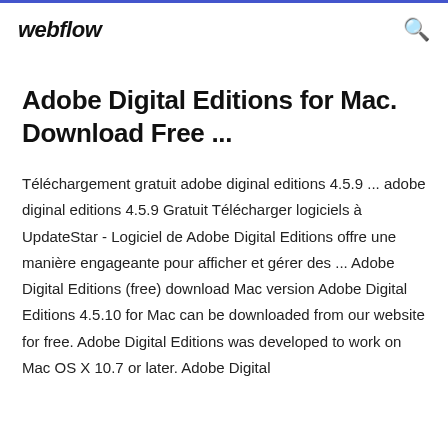webflow
Adobe Digital Editions for Mac. Download Free ...
Téléchargement gratuit adobe diginal editions 4.5.9 ... adobe diginal editions 4.5.9 Gratuit Télécharger logiciels à UpdateStar - Logiciel de Adobe Digital Editions offre une manière engageante pour afficher et gérer des ... Adobe Digital Editions (free) download Mac version Adobe Digital Editions 4.5.10 for Mac can be downloaded from our website for free. Adobe Digital Editions was developed to work on Mac OS X 10.7 or later. Adobe Digital